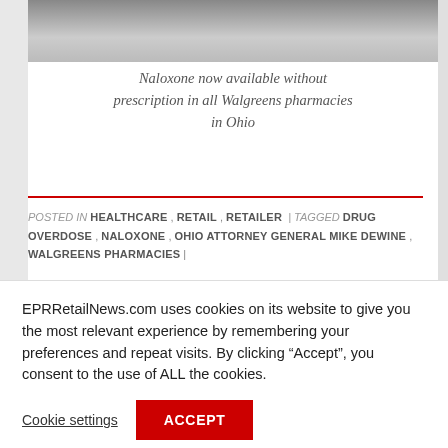[Figure (photo): Photo of a pharmacist or healthcare professional handing medication to a patient, partially cropped at top of page]
Naloxone now available without prescription in all Walgreens pharmacies in Ohio
POSTED IN HEALTHCARE , RETAIL , RETAILER | TAGGED DRUG OVERDOSE , NALOXONE , OHIO ATTORNEY GENERAL MIKE DEWINE , WALGREENS PHARMACIES |
EPRRetailNews.com uses cookies on its website to give you the most relevant experience by remembering your preferences and repeat visits. By clicking “Accept”, you consent to the use of ALL the cookies.
Cookie settings
ACCEPT